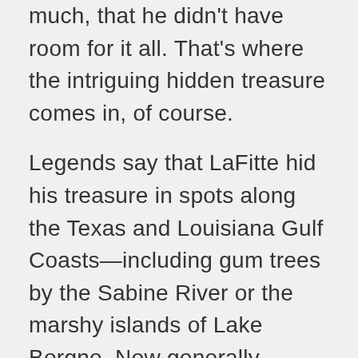much, that he didn't have room for it all. That's where the intriguing hidden treasure comes in, of course.
Legends say that LaFitte hid his treasure in spots along the Texas and Louisiana Gulf Coasts—including gum trees by the Sabine River or the marshy islands of Lake Borgne. Now generally considered a part of the Gulf of Mexico due to erosion, finding any gold or doubloons around that lake seems all but impossible—but the area isn't without its stories. Throughout the 20th century, New Orleans-area people have reported finding gold coins and even a